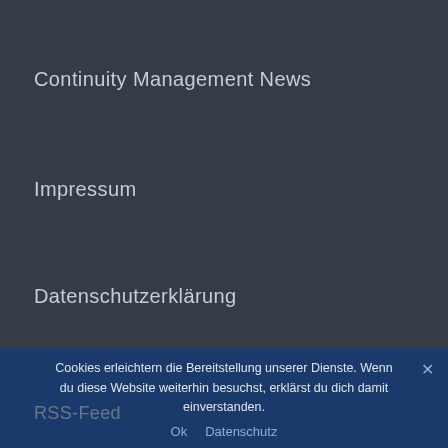Continuity Management News
Impressum
Datenschutzerklärung
Registrieren
RSS-Feed
Cookies erleichtern die Bereitstellung unserer Dienste. Wenn du diese Website weiterhin besuchst, erklärst du dich damit einverstanden.
Ok   Datenschutz